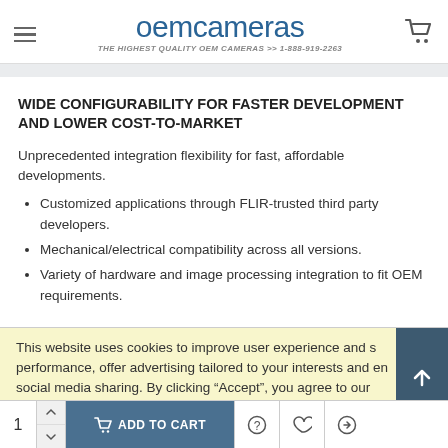OEM Cameras — THE HIGHEST QUALITY OEM CAMERAS >> 1-888-919-2263
WIDE CONFIGURABILITY FOR FASTER DEVELOPMENT AND LOWER COST-TO-MARKET
Unprecedented integration flexibility for fast, affordable developments.
Customized applications through FLIR-trusted third party developers.
Mechanical/electrical compatibility across all versions.
Variety of hardware and image processing integration to fit OEM requirements.
This website uses cookies to improve user experience and s performance, offer advertising tailored to your interests and en social media sharing. By clicking “Accept”, you agree to our use of
1  ADD TO CART